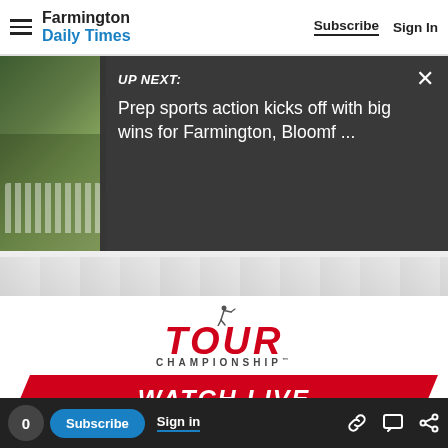Farmington Daily Times — Subscribe | Sign In
[Figure (screenshot): Video thumbnail showing a group of people on a grass field, overlaid with dark 'UP NEXT' panel on right side reading: UP NEXT: Prep sports action kicks off with big wins for Farmington, Bloomf ...]
[Figure (infographic): Tour Championship advertisement showing TOUR CHAMPIONSHIP logo in red/dark with golf silhouette, sponsor logos (Southern Company, Accenture, Coca-Cola), PROUD PARTNERS text, TODAY-SUNDAY in gray italic, and WATCH LIVE red button]
0  Subscribe  Sign in  [link icon] [chat icon] [share icon]